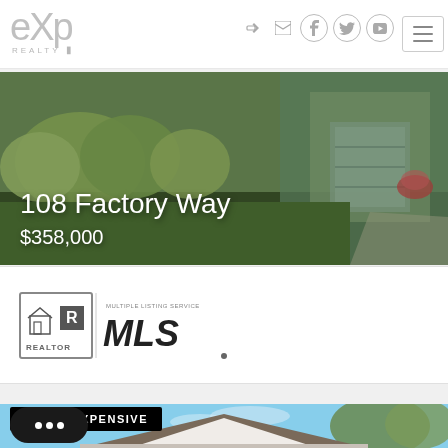eXp Realty
[Figure (photo): House exterior with green lawn and landscaping, garage door visible on right side]
108 Factory Way
$358,000
[Figure (logo): REALTOR MLS logo - Multiple Listing Service badge with house icon and MLS text]
[Figure (photo): House roofline against blue sky with trees in background, tagged LEAST EXPENSIVE]